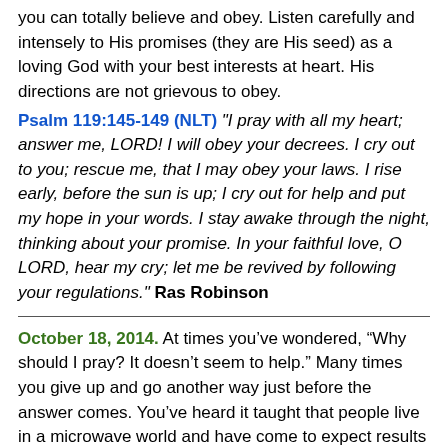you can totally believe and obey. Listen carefully and intensely to His promises (they are His seed) as a loving God with your best interests at heart. His directions are not grievous to obey.
Psalm 119:145-149 (NLT) "I pray with all my heart; answer me, LORD! I will obey your decrees. I cry out to you; rescue me, that I may obey your laws. I rise early, before the sun is up; I cry out for help and put my hope in your words. I stay awake through the night, thinking about your promise. In your faithful love, O LORD, hear my cry; let me be revived by following your regulations." Ras Robinson
October 18, 2014. At times you've wondered, “Why should I pray? It doesn’t seem to help.” Many times you give up and go another way just before the answer comes. You’ve heard it taught that people live in a microwave world and have come to expect results quickly. Living fast can cause doubt to arise. I desire fellowship and interaction with you. You will soon understand more about prayer and faith. You will have